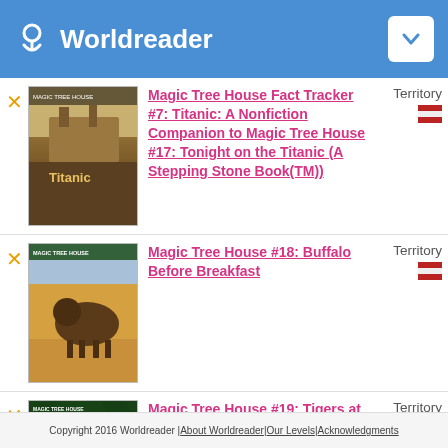Worldreader
[Figure (illustration): Book cover: Magic Tree House Fact Tracker #7: Titanic – shows Titanic ship in sepia tones]
Magic Tree House Fact Tracker #7: Titanic: A Nonfiction Companion to Magic Tree House #17: Tonight on the Titanic (A Stepping Stone Book(TM))
Territory
[Figure (illustration): Book cover: Magic Tree House #18: Buffalo Before Breakfast – shows a buffalo/bison running]
Magic Tree House #18: Buffalo Before Breakfast
Territory
[Figure (illustration): Book cover: Magic Tree House #19: Tigers at Twilight – shows jungle scene with green foliage]
Magic Tree House #19: Tigers at Twilight
Territory
Copyright 2016 Worldreader | About Worldreader | Our Levels | Acknowledgments